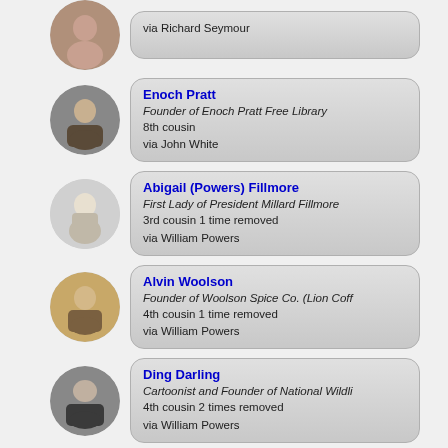via Richard Seymour
Enoch Pratt
Founder of Enoch Pratt Free Library
8th cousin
via John White
Abigail (Powers) Fillmore
First Lady of President Millard Fillmore
3rd cousin 1 time removed
via William Powers
Alvin Woolson
Founder of Woolson Spice Co. (Lion Coff
4th cousin 1 time removed
via William Powers
Ding Darling
Cartoonist and Founder of National Wildli
4th cousin 2 times removed
via William Powers